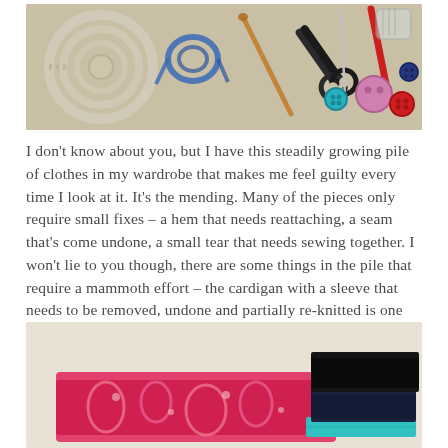[Figure (photo): Flat lay photo of sewing and craft supplies on a wooden surface: measuring tape coiled up, blue yarn, a copper/wooden crochet hook, black scissors, a thin metal tool, a red crochet hook, glass jar with pins, colorful buttons (blue, purple, red, teal), all arranged on a light beige/tan background.]
I don't know about you, but I have this steadily growing pile of clothes in my wardrobe that makes me feel guilty every time I look at it. It's the mending. Many of the pieces only require small fixes – a hem that needs reattaching, a seam that's come undone, a small tear that needs sewing together. I won't lie to you though, there are some things in the pile that require a mammoth effort – the cardigan with a sleeve that needs to be removed, undone and partially re-knitted is one that comes to mind.
[Figure (photo): Photo showing folded and stacked pieces of fabric and clothing on a light beige background: a colorful pink/red paisley-patterned fabric on the left, and a stack of dark navy/black folded garments with a folded teal/aqua striped fabric on the right.]